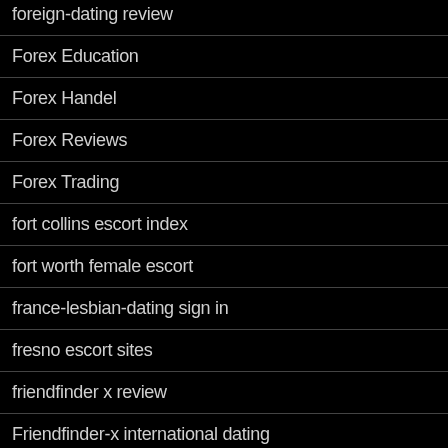foreign-dating review
Forex Education
Forex Handel
Forex Reviews
Forex Trading
fort collins escort index
fort worth female escort
france-lesbian-dating sign in
fresno escort sites
friendfinder x review
Friendfinder-x international dating
Friendfinderx online italia
Fruzo frauen app